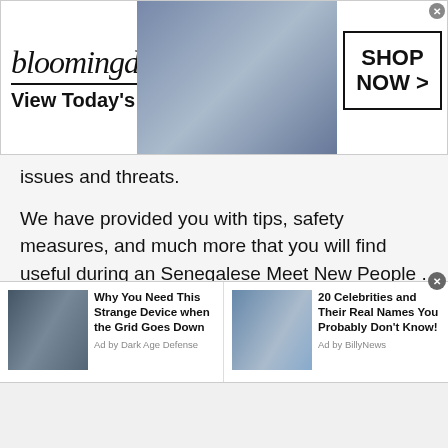[Figure (screenshot): Bloomingdale's advertisement banner with logo, 'View Today's Top Deals!' tagline, fashion model image, and 'SHOP NOW >' button]
issues and threats.
We have provided you with tips, safety measures, and much more that you will find useful during an Senegalese Meet New People . Now it is your turn to act on our advice and make a lasting first impression. Get ready for your first video chat. Visit our chatrooms for more information and get started now!
[Figure (screenshot): Bottom ad strip with two sponsored content items: 'Why You Need This Strange Device when the Grid Goes Down' (Ad by Dark Age Defense) and '20 Celebrities and Their Real Names You Probably Don't Know!' (Ad by BillyNews)]